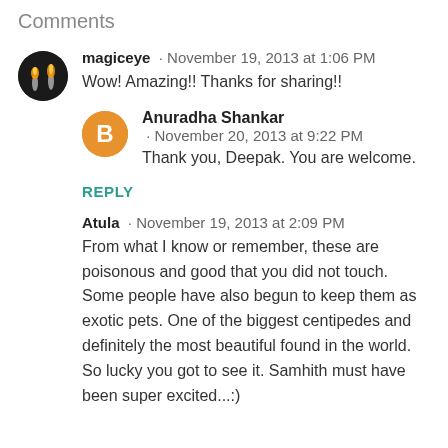Comments
magiceye · November 19, 2013 at 1:06 PM
Wow! Amazing!! Thanks for sharing!!
Anuradha Shankar · November 20, 2013 at 9:22 PM
Thank you, Deepak. You are welcome.
REPLY
Atula · November 19, 2013 at 2:09 PM
From what I know or remember, these are poisonous and good that you did not touch. Some people have also begun to keep them as exotic pets. One of the biggest centipedes and definitely the most beautiful found in the world. So lucky you got to see it. Samhith must have been super excited...:)